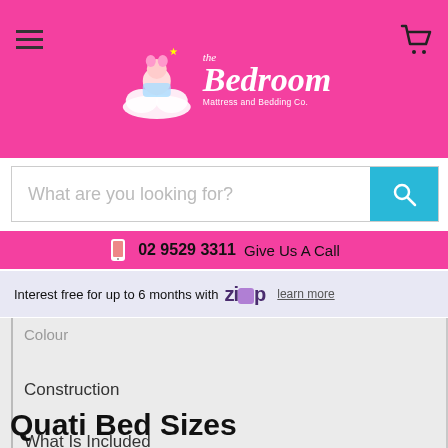[Figure (logo): The Bedroom Mattress and Bedding Co. logo with cartoon character on a cloud]
[Figure (screenshot): Search bar with placeholder text 'What are you looking for?' and teal search button]
02 9529 3311  Give Us A Call
Interest free for up to 6 months with ZIP learn more
Colour
Construction
What Is Included
Quati Bed Sizes